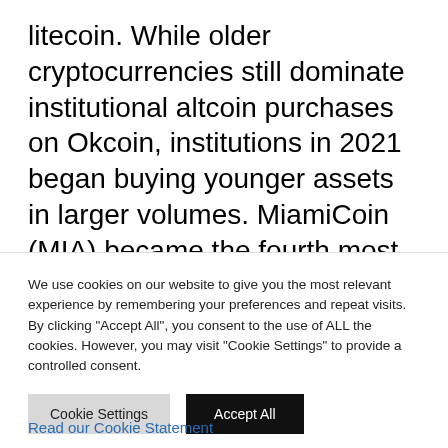litecoin. While older cryptocurrencies still dominate institutional altcoin purchases on Okcoin, institutions in 2021 began buying younger assets in larger volumes. MiamiCoin (MIA) became the fourth most popular asset among institutions on Okcoin in Q3, immediately after the respective protocol launched in August 2021. Avalanche (AVAX).
We use cookies on our website to give you the most relevant experience by remembering your preferences and repeat visits. By clicking "Accept All", you consent to the use of ALL the cookies. However, you may visit "Cookie Settings" to provide a controlled consent.
Read our Cookie Statement